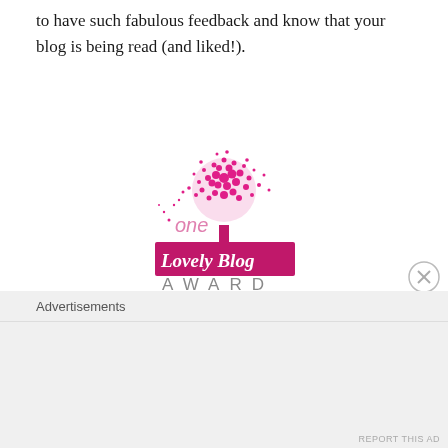to have such fabulous feedback and know that your blog is being read (and liked!).
[Figure (logo): One Lovely Blog Award logo — a pink tree made of hearts above a pink banner with cursive 'Lovely Blog' text, with 'AWARD' in grey capitals below]
I think the guidance for ‘accepting’ the award goes something like this:
Advertisements